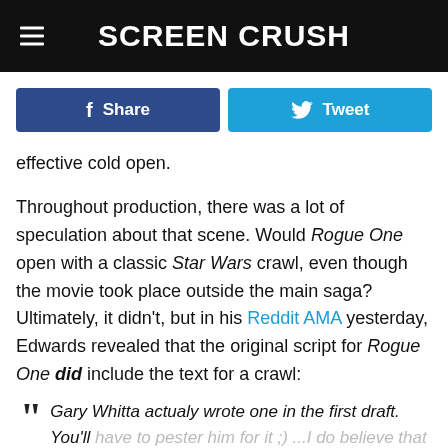Screen Crush
[Figure (infographic): Social sharing buttons: Facebook Share (dark blue) and Tweet (light blue)]
effective cold open.
Throughout production, there was a lot of speculation about that scene. Would Rogue One open with a classic Star Wars crawl, even though the movie took place outside the main saga? Ultimately, it didn't, but in his Reddit AMA yesterday, Edwards revealed that the original script for Rogue One did include the text for a crawl:
Gary Whitta actualy wrote one in the first draft. You'll have to pester him for it ;) ...I do believe that those opening crawl words are actually floating out there